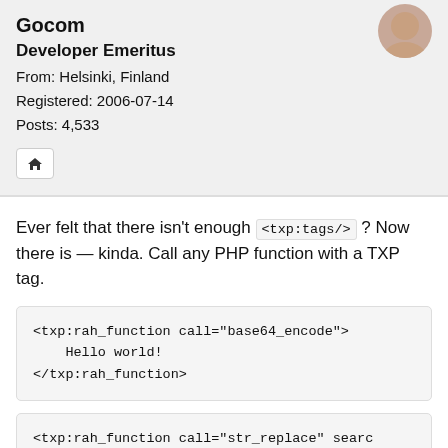Gocom
Developer Emeritus
From: Helsinki, Finland
Registered: 2006-07-14
Posts: 4,533
Ever felt that there isn't enough <txp:tags/> ? Now there is — kinda. Call any PHP function with a TXP tag.
<txp:rah_function call="base64_encode">
    Hello world!
</txp:rah_function>
<txp:rah_function call="str_replace" searc
<txp:rah_function call="trim" charlist="H"